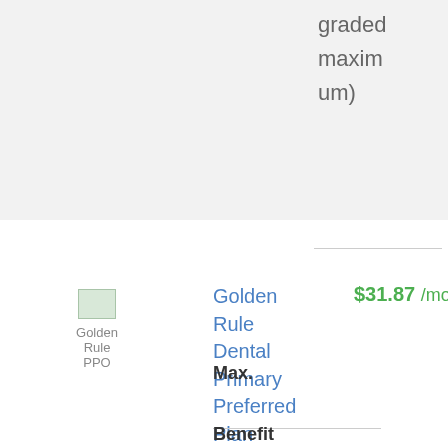graded maximum)
[Figure (logo): Golden Rule insurance logo placeholder image]
Golden Rule
PPO
Golden Rule Dental Primary Preferred Plan
$31.87 /month
Max.

Benefit